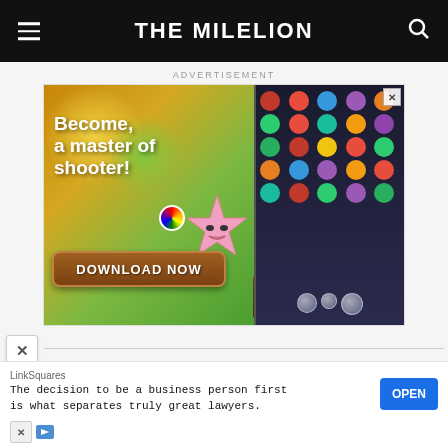THE MILELION
ADVERTISEMENT
[Figure (screenshot): Mobile game advertisement for Bubble Shooter Animal World. Shows colorful game with text 'Become, a master of shooter!' and a 'DOWNLOAD NOW' button. Right side shows animal emoji grid on dark background. Pink starfish character visible.]
LinkSquares
The decision to be a business person first is what separates truly great lawyers.